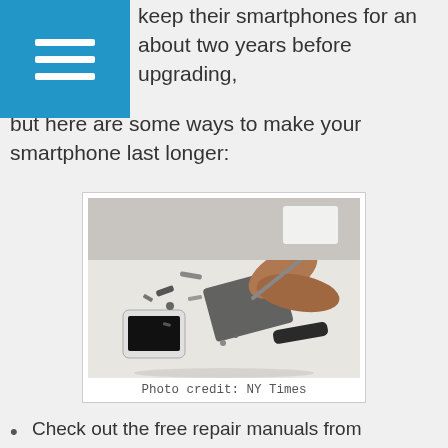keep their smartphones for an about two years before upgrading, but here are some ways to make your smartphone last longer:
[Figure (photo): Hands disassembling a smartphone on a white table, with phone parts scattered around. A disassembled iPhone with black screen is visible on the left.]
Photo credit: NY Times
Check out the free repair manuals from iFixit.com, or if the problem requires a more experienced eye, iCracked will send techs to your home or business to fix your phone
Replace the battery when your phone